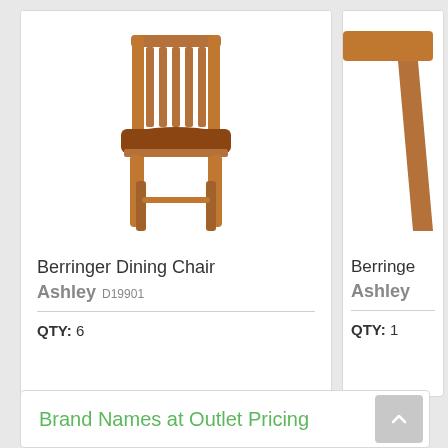[Figure (photo): Berringer Dining Chair product photo - wooden chair with brown upholstered seat]
Berringer Dining Chair
Ashley D19901
QTY: 6
[Figure (photo): Partial view of a wooden furniture leg (Berringer product)]
Berringer
Ashley
QTY: 1
Brand Names at Outlet Pricing